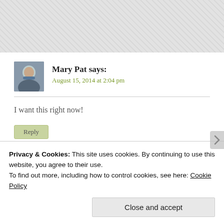[Figure (photo): Grey textured banner image at top of page]
[Figure (photo): Avatar photo of commenter Mary Pat]
Mary Pat says:
August 15, 2014 at 2:04 pm
I want this right now!
Reply
Privacy & Cookies: This site uses cookies. By continuing to use this website, you agree to their use.
To find out more, including how to control cookies, see here: Cookie Policy
Close and accept